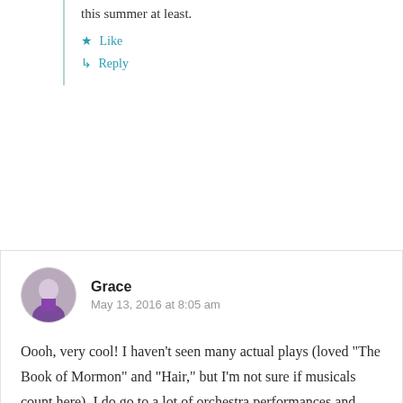this summer at least.
Like
Reply
Grace
May 13, 2016 at 8:05 am
Oooh, very cool! I haven't seen many actual plays (loved “The Book of Mormon” and “Hair,” but I’m not sure if musicals count here). I do go to a lot of orchestra performances and ballets though. 🙂
Like
Reply